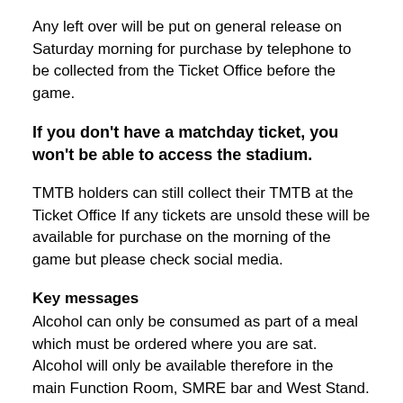Any left over will be put on general release on Saturday morning for purchase by telephone to be collected from the Ticket Office before the game.
If you don't have a matchday ticket, you won't be able to access the stadium.
TMTB holders can still collect their TMTB at the Ticket Office If any tickets are unsold these will be available for purchase on the morning of the game but please check social media.
Key messages
Alcohol can only be consumed as part of a meal which must be ordered where you are sat. Alcohol will only be available therefore in the main Function Room, SMRE bar and West Stand. Pre-bookings are required for all spaces.
Bring a Face Mask for walking through indoor spaces (including Ticket Office).